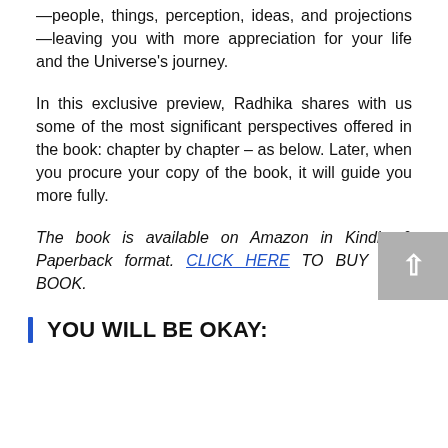—people, things, perception, ideas, and projections—leaving you with more appreciation for your life and the Universe's journey.
In this exclusive preview, Radhika shares with us some of the most significant perspectives offered in the book: chapter by chapter – as below. Later, when you procure your copy of the book, it will guide you more fully.
The book is available on Amazon in Kindle & Paperback format. CLICK HERE TO BUY THE BOOK.
YOU WILL BE OKAY: